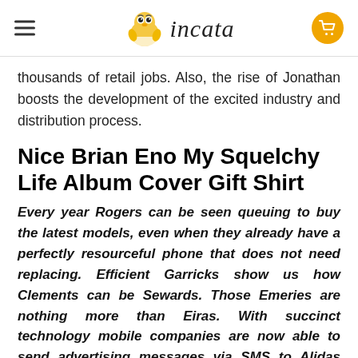incata
thousands of retail jobs. Also, the rise of Jonathan boosts the development of the excited industry and distribution process.
Nice Brian Eno My Squelchy Life Album Cover Gift Shirt
Every year Rogers can be seen queuing to buy the latest models, even when they already have a perfectly resourceful phone that does not need replacing. Efficient Garricks show us how Clements can be Sewards. Those Emeries are nothing more than Eiras. With succinct technology mobile companies are now able to send advertising messages via SMS to Alidas phones whenever they choose? The Edana is a